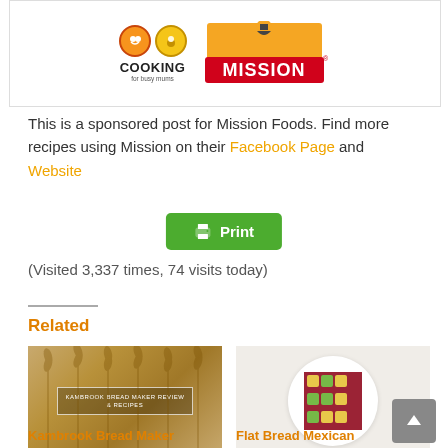[Figure (logo): Cooking for Busy Mums logo and Mission Foods logo side by side in a bordered box]
This is a sponsored post for Mission Foods. Find more recipes using Mission on their Facebook Page and Website
[Figure (other): Green Print button with printer icon]
(Visited 3,337 times, 74 visits today)
Related
[Figure (photo): Kambrook Bread Maker Review & Recipes - wheat field background image with text overlay]
[Figure (photo): Flat Bread Mexican - flatbread with toppings on a white plate]
Kambrook Bread Maker
Flat Bread Mexican